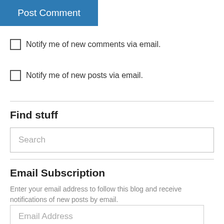Post Comment
Notify me of new comments via email.
Notify me of new posts via email.
Find stuff
Search
Email Subscription
Enter your email address to follow this blog and receive notifications of new posts by email.
Email Address